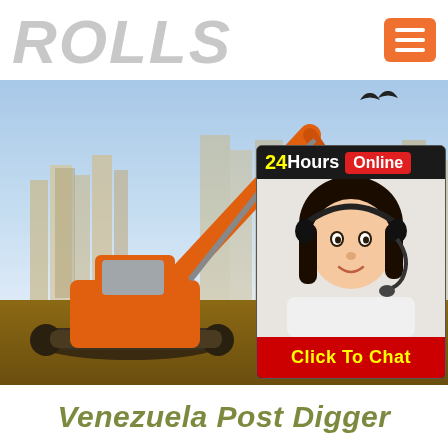ROLLS
[Figure (photo): Orange excavator/digger on a construction site with city skyline in the background. A customer service representative widget overlaid on the right side showing '24Hours Online' header, a woman with headset, and 'Click To Chat' button.]
Venezuela Post Digger